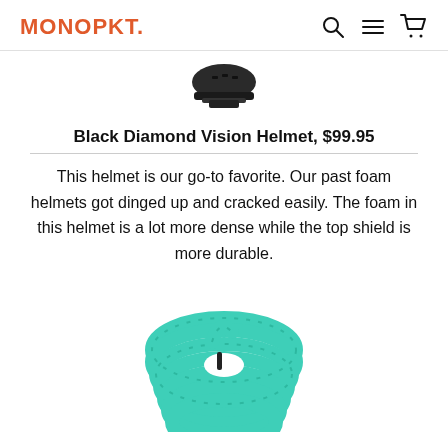MONOPKT.
[Figure (photo): Partial view of a dark climbing helmet from below/side angle, cropped at top of page]
Black Diamond Vision Helmet, $99.95
This helmet is our go-to favorite. Our past foam helmets got dinged up and cracked easily. The foam in this helmet is a lot more dense while the top shield is more durable.
[Figure (photo): Coiled teal/turquoise climbing rope, partially visible, cropped at bottom of page]